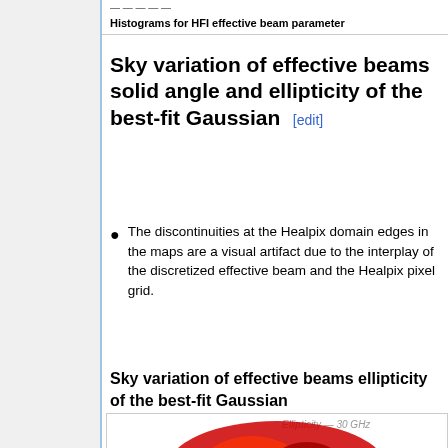Histograms for HFI effective beam parameter
Sky variation of effective beams solid angle and ellipticity of the best-fit Gaussian [edit]
The discontinuities at the Healpix domain edges in the maps are a visual artifact due to the interplay of the discretized effective beam and the Healpix pixel grid.
Sky variation of effective beams ellipticity of the best-fit Gaussian
[Figure (map): Sky map showing ellipticity at 30 GHz, rendered in red color scheme with Healpix projection. Label reads: Ellipticity — 30 GHz]